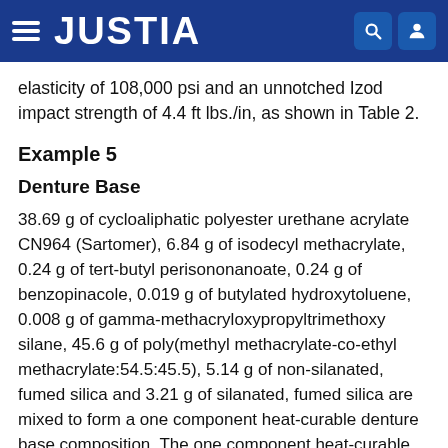JUSTIA
elasticity of 108,000 psi and an unnotched Izod impact strength of 4.4 ft lbs./in, as shown in Table 2.
Example 5
Denture Base
38.69 g of cycloaliphatic polyester urethane acrylate CN964 (Sartomer), 6.84 g of isodecyl methacrylate, 0.24 g of tert-butyl perisononanoate, 0.24 g of benzopinacole, 0.019 g of butylated hydroxytoluene, 0.008 g of gamma-methacryloxypropyltrimethoxy silane, 45.6 g of poly(methyl methacrylate-co-ethyl methacrylate:54.5:45.5), 5.14 g of non-silanated, fumed silica and 3.21 g of silanated, fumed silica are mixed to form a one component heat-curable denture base composition. The one component heat-curable denture